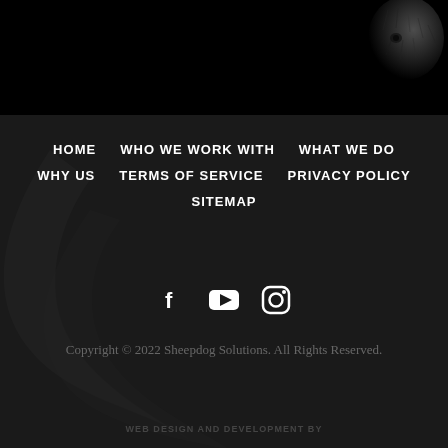[Figure (photo): Black and white close-up photo of a dog (sheepdog) in the top-right corner against a black background]
HOME
WHO WE WORK WITH
WHAT WE DO
WHY US
TERMS OF SERVICE
PRIVACY POLICY
SITEMAP
[Figure (illustration): Social media icons: Facebook (f), YouTube (play button), Instagram (camera)]
Copyright © 2022 Sheepdog Solutions. All Rights Reserved.
WEB DESIGN AND DEVELOPMENT BY